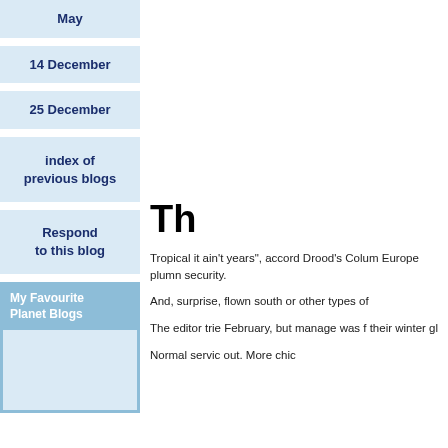May
14 December
25 December
index of previous blogs
Respond to this blog
My Favourite Planet Blogs
Th
Tropical it ain't years", according Drood's Colum Europe plumn security.
And, surprise, flown south or other types of
The editor trie February, but manage was f their winter gl
Normal servic out. More chic